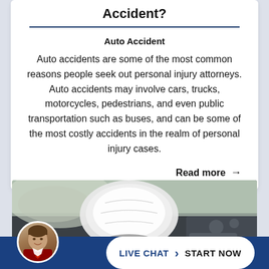Accident?
Auto Accident
Auto accidents are some of the most common reasons people seek out personal injury attorneys. Auto accidents may involve cars, trucks, motorcycles, pedestrians, and even public transportation such as buses, and can be some of the most costly accidents in the realm of personal injury cases.
Read more →
[Figure (photo): Photo of deployed airbags inside a car, showing the dashboard and airbag deployed from the steering wheel]
LIVE CHAT › START NOW